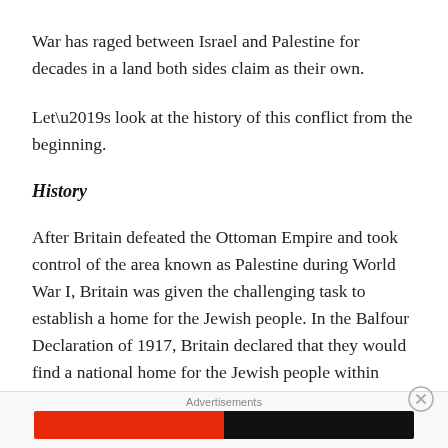War has raged between Israel and Palestine for decades in a land both sides claim as their own.
Let’s look at the history of this conflict from the beginning.
History
After Britain defeated the Ottoman Empire and took control of the area known as Palestine during World War I, Britain was given the challenging task to establish a home for the Jewish people. In the Balfour Declaration of 1917, Britain declared that they would find a national home for the Jewish people within Palestine, something that created conflict
Advertisements